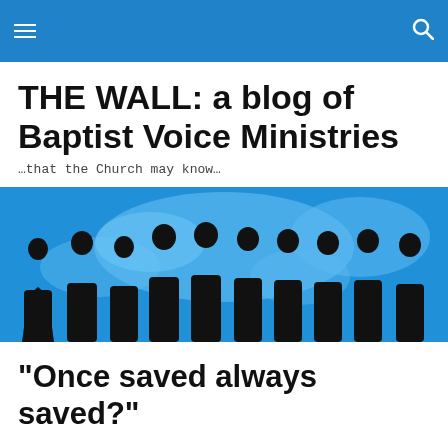THE WALL: a blog of Baptist Voice Ministries
THE WALL: a blog of Baptist Voice Ministries
…that the Church may know…
[Figure (photo): Silhouettes of a group of people standing in front of a blue world map background]
“Once saved always saved?”
2 Votes
Once saved always saved…